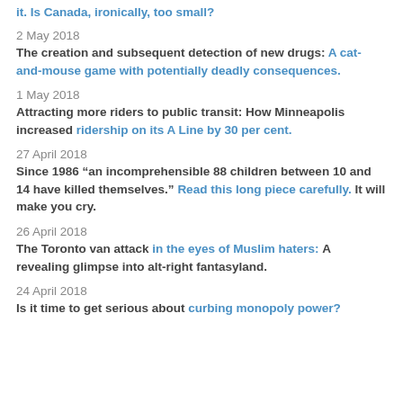it. Is Canada, ironically, too small?
2 May 2018
The creation and subsequent detection of new drugs: A cat-and-mouse game with potentially deadly consequences.
1 May 2018
Attracting more riders to public transit: How Minneapolis increased ridership on its A Line by 30 per cent.
27 April 2018
Since 1986 “an incomprehensible 88 children between 10 and 14 have killed themselves.” Read this long piece carefully. It will make you cry.
26 April 2018
The Toronto van attack in the eyes of Muslim haters: A revealing glimpse into alt-right fantasyland.
24 April 2018
Is it time to get serious about curbing monopoly power?